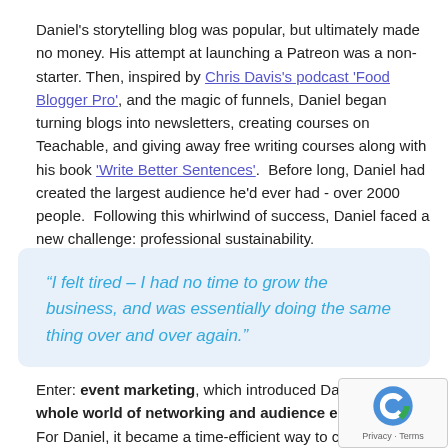Daniel's storytelling blog was popular, but ultimately made no money. His attempt at launching a Patreon was a non-starter. Then, inspired by Chris Davis's podcast 'Food Blogger Pro', and the magic of funnels, Daniel began turning blogs into newsletters, creating courses on Teachable, and giving away free writing courses along with his book 'Write Better Sentences'. Before long, Daniel had created the largest audience he'd ever had - over 2000 people. Following this whirlwind of success, Daniel faced a new challenge: professional sustainability.
"I felt tired – I had no time to grow the business, and was essentially doing the same thing over and over again."
Enter: event marketing, which introduced Daniel to a whole world of networking and audience engagement. For Daniel, it became a time-efficient way to concentrate exposure and c... to different audiences... more than... explicitly...